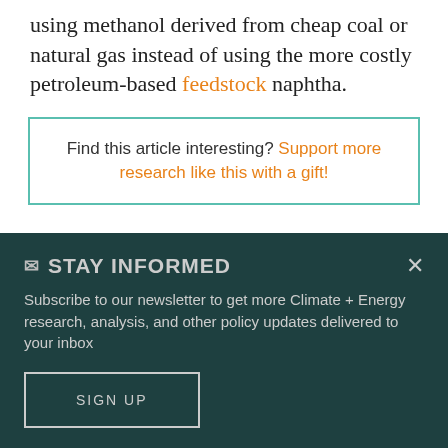using methanol derived from cheap coal or natural gas instead of using the more costly petroleum-based feedstock naphtha.
Find this article interesting? Support more research like this with a gift!
China has abundant supplies of cheap domestic coal, yet because most of it is in a remote western part of the country, it
STAY INFORMED
Subscribe to our newsletter to get more Climate + Energy research, analysis, and other policy updates delivered to your inbox
SIGN UP